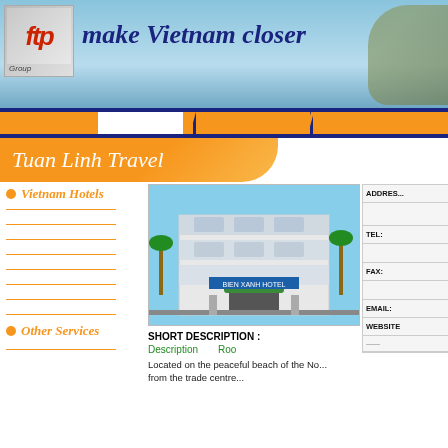[Figure (logo): FTP Group logo with red FTP letters, grey diamond shape, and 'Group' text below]
make Vietnam closer
Tuan Linh Travel
Vietnam Hotels
[Figure (photo): Bien Xanh Hotel building exterior photo showing a multi-story hotel with balconies, palm trees, and entrance gate]
| Field | Value |
| --- | --- |
| ADDRESS |  |
| TEL: |  |
| FAX: |  |
| EMAIL: |  |
| WEBSITE |  |
SHORT DESCRIPTION :
Description
Roo
Located on the peaceful beach of the No... from the trade centre...
Other Services